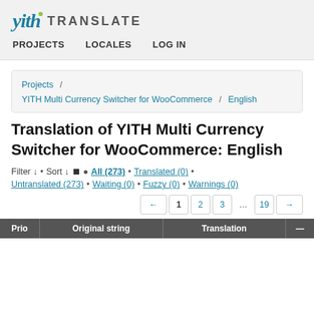yith TRANSLATE
PROJECTS  LOCALES  LOG IN
Projects / YITH Multi Currency Switcher for WooCommerce / English
Translation of YITH Multi Currency Switcher for WooCommerce: English
Filter ↓ • Sort ↓ ● All (273) • Translated (0) • Untranslated (273) • Waiting (0) • Fuzzy (0) • Warnings (0)
← 1 2 3 ... 19 →
| Prio | Original string | Translation | — |
| --- | --- | --- | --- |